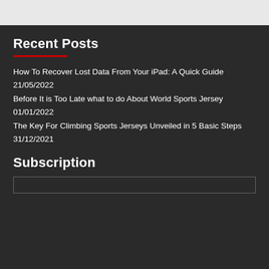Recent Posts
How To Recover Lost Data From Your iPad: A Quick Guide
21/05/2022
Before It is Too Late what to do About World Sports Jersey
01/01/2022
The Key For Climbing Sports Jerseys Unveiled in 5 Basic Steps
31/12/2021
Subscription